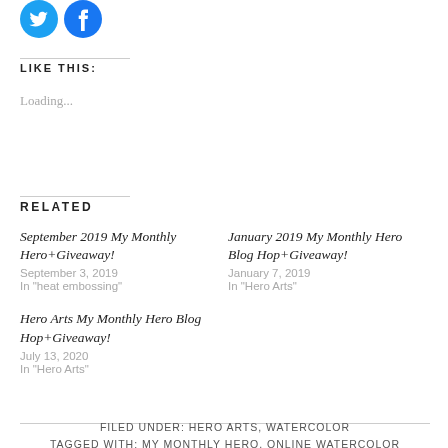[Figure (other): Twitter and Facebook social sharing icon buttons (blue circles)]
LIKE THIS:
Loading...
RELATED
September 2019 My Monthly Hero+Giveaway!
September 3, 2019
In "heat embossing"
January 2019 My Monthly Hero Blog Hop+Giveaway!
January 7, 2019
In "Hero Arts"
Hero Arts My Monthly Hero Blog Hop+Giveaway!
July 13, 2020
In "Hero Arts"
FILED UNDER: HERO ARTS, WATERCOLOR
TAGGED WITH: MY MONTHLY HERO, ONLINE WATERCOLOR